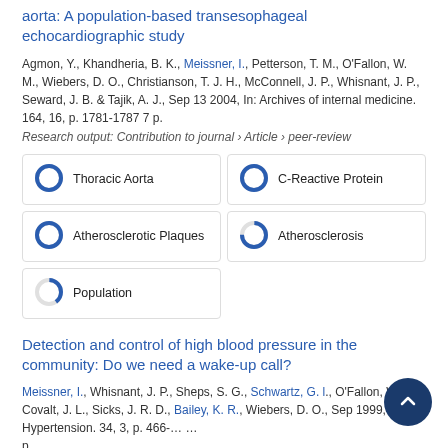aorta: A population-based transesophageal echocardiographic study
Agmon, Y., Khandheria, B. K., Meissner, I., Petterson, T. M., O'Fallon, W. M., Wiebers, D. O., Christianson, T. J. H., McConnell, J. P., Whisnant, J. P., Seward, J. B. & Tajik, A. J., Sep 13 2004, In: Archives of internal medicine. 164, 16, p. 1781-1787 7 p.
Research output: Contribution to journal › Article › peer-review
[Figure (infographic): Four keyword/concept badges in a 2x2 grid plus one badge below left. Each badge shows a donut/circle chart indicating percentage coverage: Thoracic Aorta (100%), C-Reactive Protein (100%), Atherosclerotic Plaques (100%), Atherosclerosis (75%), Population (40%).]
Detection and control of high blood pressure in the community: Do we need a wake-up call?
Meissner, I., Whisnant, J. P., Sheps, S. G., Schwartz, G. l., O'Fallon, W. M., Covalt, J. L., Sicks, J. R. D., Bailey, K. R., Wiebers, D. O., Sep 1999, In: Hypertension. 34, 3, p. 466-… … p.